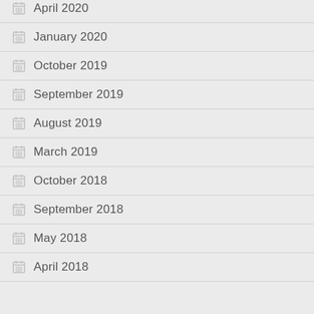April 2020
January 2020
October 2019
September 2019
August 2019
March 2019
October 2018
September 2018
May 2018
April 2018